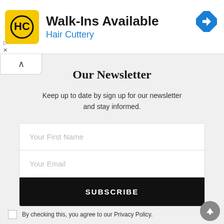[Figure (infographic): Hair Cuttery advertisement banner with yellow logo, Walk-Ins Available text, blue map/direction icon on right, and ad controls (play and close) on left]
Our Newsletter
Keep up to date by sign up for our newsletter and stay informed.
[Figure (screenshot): Newsletter signup form with fields for Your First Name, Your Email, and a black SUBSCRIBE button]
By checking this, you agree to our Privacy Policy.